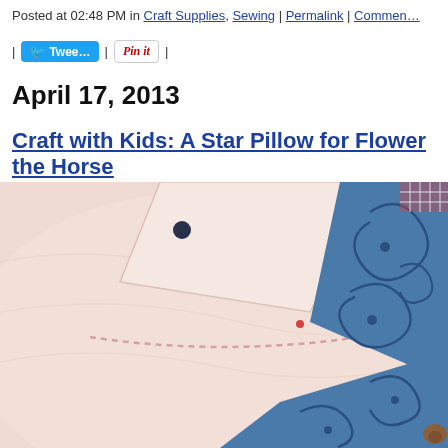Posted at 02:48 PM in Craft Supplies, Sewing | Permalink | Comments
[Figure (other): Social sharing buttons: Tweet button (Twitter) and Pin it button (Pinterest)]
April 17, 2013
Craft with Kids: A Star Pillow for Flower the Horse
[Figure (photo): Close-up photo of a stuffed horse pillow showing pale pink/cream felt fabric with stitched seams and a blue decorative fabric star point with swirling patterns, plus a small brown knot detail.]